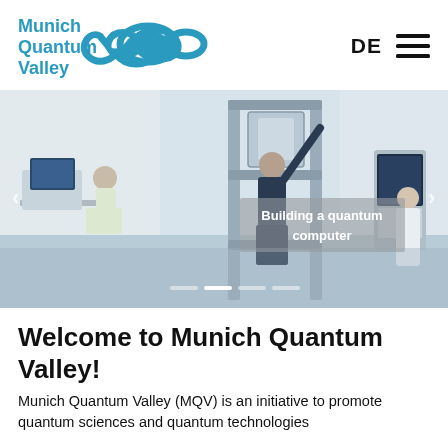[Figure (logo): Munich Quantum Valley logo with teal/blue text and infinity loop symbol]
[Figure (photo): Lab photo showing researchers working with quantum computing equipment including a large rack/frame structure. Overlay text reads 'Building a quantum computer']
Welcome to Munich Quantum Valley!
Munich Quantum Valley (MQV) is an initiative to promote quantum sciences and quantum technologies